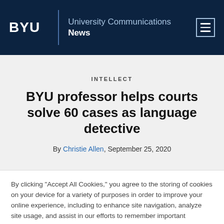BYU | University Communications News
INTELLECT
BYU professor helps courts solve 60 cases as language detective
By Christie Allen, September 25, 2020
By clicking “Accept All Cookies,” you agree to the storing of cookies on your device for a variety of purposes in order to improve your online experience, including to enhance site navigation, analyze site usage, and assist in our efforts to remember important information that will make your future use of our sites more convenient.